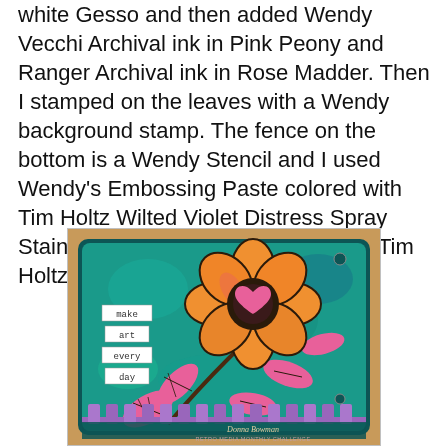white Gesso and then added Wendy Vecchi Archival ink in Pink Peony and Ranger Archival ink in Rose Madder. Then I stamped on the leaves with a Wendy background stamp. The fence on the bottom is a Wendy Stencil and I used Wendy's Embossing Paste colored with Tim Holtz Wilted Violet Distress Spray Stain. The sentiment are words from Tim Holtz Chit Chat.
[Figure (photo): A mixed media art tag featuring a large orange flower with a dark center containing a pink heart, pink leaves with stamped script pattern along a branch, small word labels reading 'make', 'art', 'every', 'day' on the left side, a purple picket fence at the bottom, all on a teal textured background with burlap border. Stamped with 'Donna Bowman RETRO MEDIA MONTHLY CHALLENGE' at the bottom.]